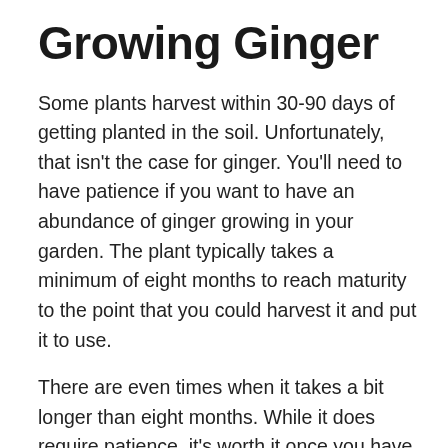Growing Ginger
Some plants harvest within 30-90 days of getting planted in the soil. Unfortunately, that isn't the case for ginger. You'll need to have patience if you want to have an abundance of ginger growing in your garden. The plant typically takes a minimum of eight months to reach maturity to the point that you could harvest it and put it to use.
There are even times when it takes a bit longer than eight months. While it does require patience, it's worth it once you have the ginger growing in your yard and can use it for many things. In case you missed this post,